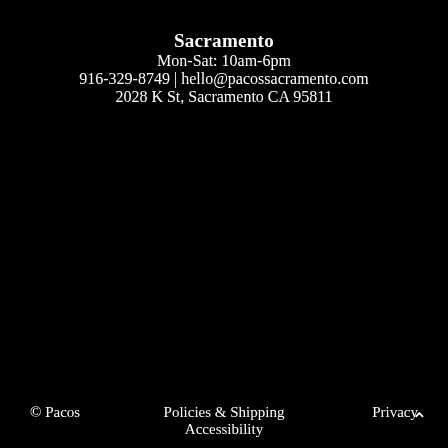Sacramento
Mon-Sat: 10am-6pm
916-329-8749 | hello@pacossacramento.com
2028 K St, Sacramento CA 95811
© Pacos    Policies & Shipping    Accessibility    Privacy